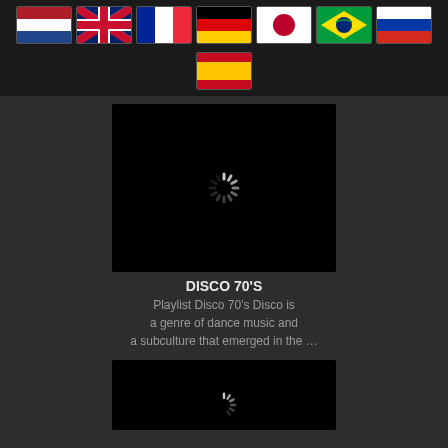[Figure (illustration): Row of country flags: Netherlands, UK, France, Germany, Japan, Brazil, Russia]
[Figure (illustration): Spain flag centered below the main row]
[Figure (illustration): Black album art square with loading spinner icon]
DISCO 70'S
Playlist Disco 70's Disco is a genre of dance music and a subculture that emerged in the …
[Figure (illustration): Second black album art square with loading spinner icon (partially visible)]